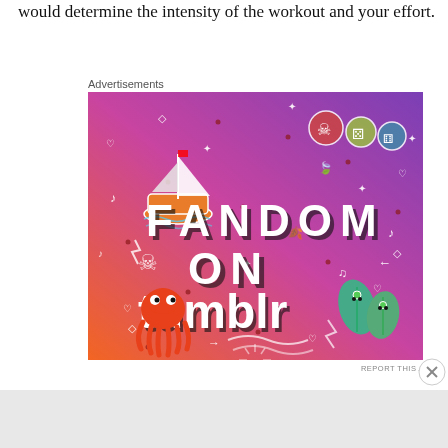would determine the intensity of the workout and your effort.
Advertisements
[Figure (illustration): Tumblr advertisement banner with orange-to-purple gradient background, white doodle icons (sailboat, skull, dice, octopus, leaf characters, music notes, arrows, hearts), and bold text reading 'FANDOM ON tumblr']
REPORT THIS AD
Advertisements
REPORT THIS AD